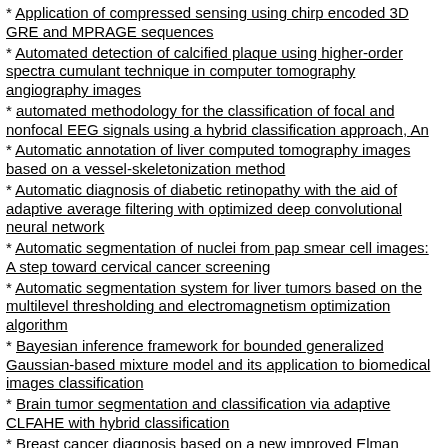Application of compressed sensing using chirp encoded 3D GRE and MPRAGE sequences
Automated detection of calcified plaque using higher-order spectra cumulant technique in computer tomography angiography images
automated methodology for the classification of focal and nonfocal EEG signals using a hybrid classification approach, An
Automatic annotation of liver computed tomography images based on a vessel-skeletonization method
Automatic diagnosis of diabetic retinopathy with the aid of adaptive average filtering with optimized deep convolutional neural network
Automatic segmentation of nuclei from pap smear cell images: A step toward cervical cancer screening
Automatic segmentation system for liver tumors based on the multilevel thresholding and electromagnetism optimization algorithm
Bayesian inference framework for bounded generalized Gaussian-based mixture model and its application to biomedical images classification
Brain tumor segmentation and classification via adaptive CLFAHE with hybrid classification
Breast cancer diagnosis based on a new improved Elman neural network optimized by meta-heuristics
Classification of ...